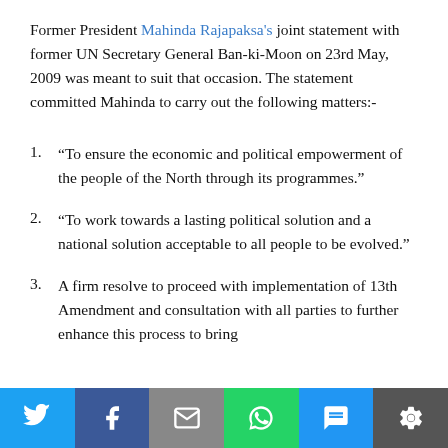Former President Mahinda Rajapaksa's joint statement with former UN Secretary General Ban-ki-Moon on 23rd May, 2009 was meant to suit that occasion. The statement committed Mahinda to carry out the following matters:-
“To ensure the economic and political empowerment of the people of the North through its programmes.”
“To work towards a lasting political solution and a national solution acceptable to all people to be evolved.”
A firm resolve to proceed with implementation of 13th Amendment and consultation with all parties to further enhance this process to bring